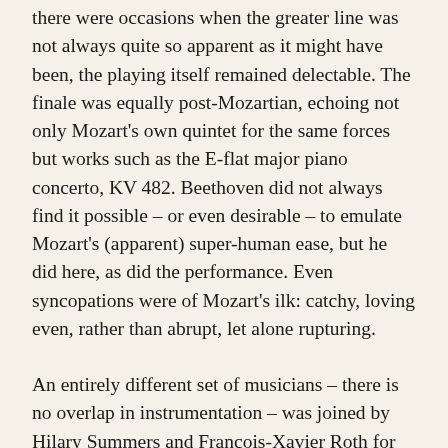there were occasions when the greater line was not always quite so apparent as it might have been, the playing itself remained delectable. The finale was equally post-Mozartian, echoing not only Mozart's own quintet for the same forces but works such as the E-flat major piano concerto, KV 482. Beethoven did not always find it possible – or even desirable – to emulate Mozart's (apparent) super-human ease, but he did here, as did the performance. Even syncopations were of Mozart's ilk: catchy, loving even, rather than abrupt, let alone rupturing.
An entirely different set of musicians – there is no overlap in instrumentation – was joined by Hilary Summers and François-Xavier Roth for Le Marteau sans maître. When I have heard the work recently, I have been struck by its metamorphosis into 'classic', maybe even 'classical', status. No longer an object of controversy, it stands not unlike, say, Pierrot lunaire